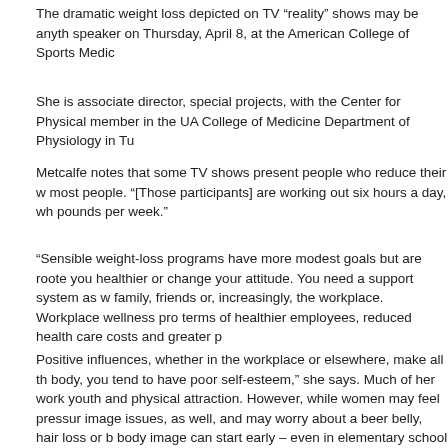The dramatic weight loss depicted on TV “reality” shows may be anything but realistic, said a speaker on Thursday, April 8, at the American College of Sports Medicine
She is associate director, special projects, with the Center for Physical Activity and Nutrition, and a faculty member in the UA College of Medicine Department of Physiology in Tu
Metcalfe notes that some TV shows present people who reduce their weight at a rate not typical for most people. “[Those participants] are working out six hours a day, wh pounds per week.”
“Sensible weight-loss programs have more modest goals but are rooted you healthier or change your attitude. You need a support system as w family, friends or, increasingly, the workplace. Workplace wellness pro terms of healthier employees, reduced health care costs and greater p
Positive influences, whether in the workplace or elsewhere, make all th body, you tend to have poor self-esteem,” she says. Much of her work youth and physical attraction. However, while women may feel pressur image issues, as well, and may worry about a beer belly, hair loss or b body image can start early – even in elementary school – and may lea loss.
Three areas are essential for successful weight management, cha